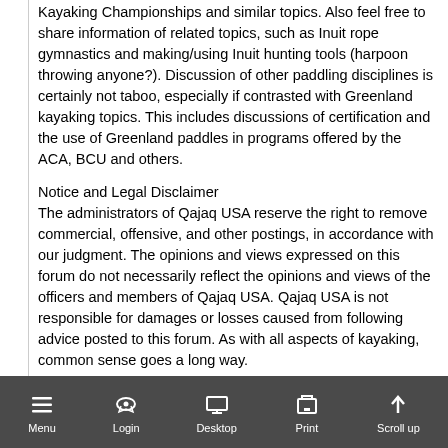Kayaking Championships and similar topics. Also feel free to share information of related topics, such as Inuit rope gymnastics and making/using Inuit hunting tools (harpoon throwing anyone?). Discussion of other paddling disciplines is certainly not taboo, especially if contrasted with Greenland kayaking topics. This includes discussions of certification and the use of Greenland paddles in programs offered by the ACA, BCU and others.
Notice and Legal Disclaimer
The administrators of Qajaq USA reserve the right to remove commercial, offensive, and other postings, in accordance with our judgment. The opinions and views expressed on this forum do not necessarily reflect the opinions and views of the officers and members of Qajaq USA. Qajaq USA is not responsible for damages or losses caused from following advice posted to this forum. As with all aspects of kayaking, common sense goes a long way.
Please do not post commercial messages and Classified Ads
This forum is for open discussion and sharing of knowledge. Folks who sell a product or service to the kayaking community are very welcome to participate here as long as they do not use this forum to directly advertise, promote, and services.